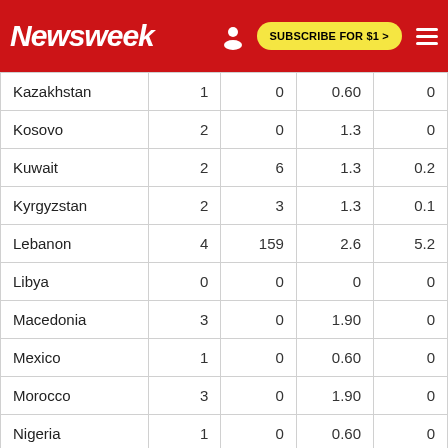Newsweek — SUBSCRIBE FOR $1 >
| Country | Col2 | Col3 | Col4 | Col5 |
| --- | --- | --- | --- | --- |
| Kazakhstan | 1 | 0 | 0.60 | 0 |
| Kosovo | 2 | 0 | 1.3 | 0 |
| Kuwait | 2 | 6 | 1.3 | 0.2 |
| Kyrgyzstan | 2 | 3 | 1.3 | 0.1 |
| Lebanon | 4 | 159 | 2.6 | 5.2 |
| Libya | 0 | 0 | 0 | 0 |
| Macedonia | 3 | 0 | 1.90 | 0 |
| Mexico | 1 | 0 | 0.60 | 0 |
| Morocco | 3 | 0 | 1.90 | 0 |
| Nigeria | 1 | 0 | 0.60 | 0 |
| Pakistan | 14 | 3 | 9.1 | 0.1 |
| Palestine | 5 | 2 | 3.2 | 0.1 |